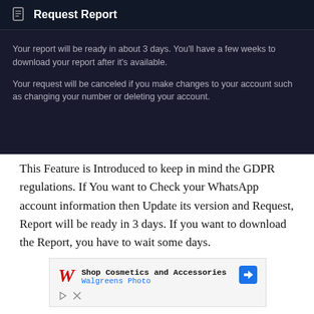[Figure (screenshot): Dark-themed mobile app panel titled 'Request Report' with a document icon. Body text explains the report will be ready in about 3 days and the request will be cancelled if account changes are made.]
This Feature is Introduced to keep in mind the GDPR regulations. If You want to Check your WhatsApp account information then Update its version and Request, Report will be ready in 3 days. If you want to download the Report, you have to wait some days.
[Figure (screenshot): Advertisement for Walgreens Photo showing 'Shop Cosmetics and Accessories' with Walgreens red W logo and a blue diamond navigation arrow icon.]